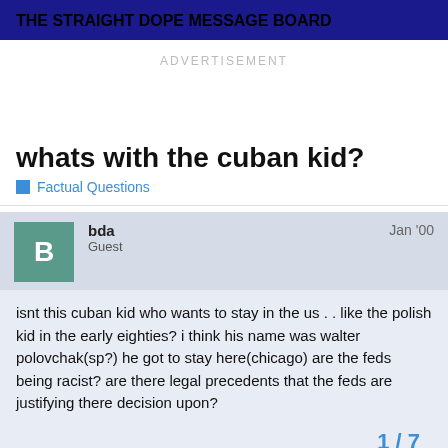THE STRAIGHT DOPE MESSAGE BOARD
ADVERTISEMENT
whats with the cuban kid?
Factual Questions
bda
Guest
Jan '00
isnt this cuban kid who wants to stay in the us . . like the polish kid in the early eighties? i think his name was walter polovchak(sp?) he got to stay here(chicago) are the feds being racist? are there legal precedents that the feds are justifying there decision upon?
1 / 7